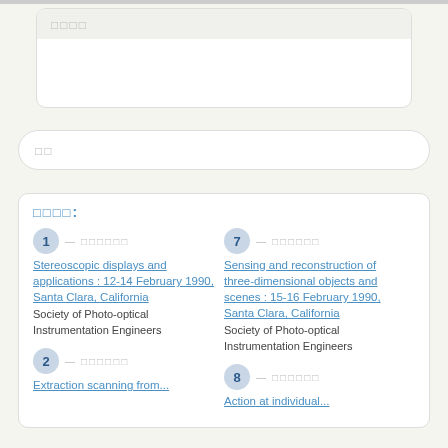□□□□
□□
□□□□:
1 — □□□□□□ Stereoscopic displays and applications : 12-14 February 1990, Santa Clara, California Society of Photo-optical Instrumentation Engineers
7 — □□□□□□ Sensing and reconstruction of three-dimensional objects and scenes : 15-16 February 1990, Santa Clara, California Society of Photo-optical Instrumentation Engineers
2 — □□□□□□ Extraction scanning from ...
8 — □□□□□□ Action at individual ...